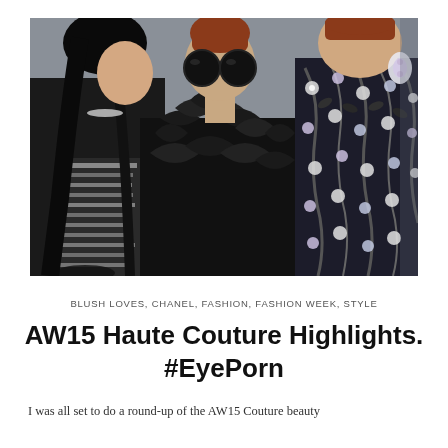[Figure (photo): Three fashion models in black outfits against a grey background. Left model has black hair in a ponytail wearing a black embellished dress. Center model wears large round black sunglasses and a black ruffled top. Right model wears a black and white floral embroidered jacket with statement earrings.]
BLUSH LOVES, CHANEL, FASHION, FASHION WEEK, STYLE
AW15 Haute Couture Highlights. #EyePorn
I was all set to do a round-up of the AW15 Couture beauty